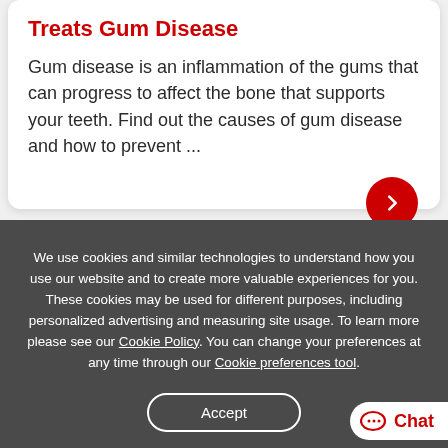Treats Gum Disease
Gum disease is an inflammation of the gums that can progress to affect the bone that supports your teeth. Find out the causes of gum disease and how to prevent ...
We use cookies and similar technologies to understand how you use our website and to create more valuable experiences for you. These cookies may be used for different purposes, including personalized advertising and measuring site usage. To learn more please see our Cookie Policy. You can change your preferences at any time through our Cookie preferences tool.
Accept
Chat